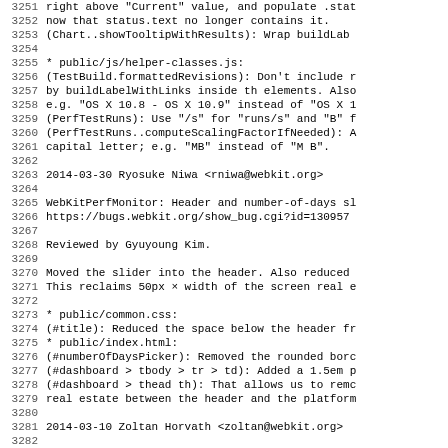Source code changelog/diff view, lines 3251-3282
3251-3261: Code comments about status.text, Chart.showTooltipWithResults, public/js/helper-classes.js, TestBuild.formattedRevisions, PerfTestRuns
3263: 2014-03-30  Ryosuke Niwa  <rniwa@webkit.org>
3265-3266: WebKitPerfMonitor: Header and number-of-days slider changes, bug link
3268: Reviewed by Gyuyoung Kim.
3270-3271: Moved the slider into the header. Also reduced... This reclaims 50px x width of the screen real estate
3273-3279: public/common.css, public/index.html changes
3281: 2014-03-10  Zoltan Horvath  <zoltan@webkit.org>